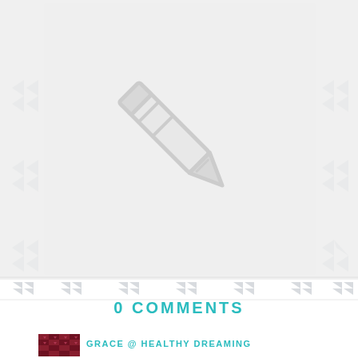[Figure (illustration): A placeholder image card with a light gray background and a pencil/edit icon in the center drawn in light gray outline style]
[Figure (illustration): A decorative horizontal divider made of repeating arrow/chevron shapes in light gray]
0 COMMENTS
[Figure (photo): Small square avatar thumbnail with a dark red/maroon geometric pattern (quilt-like design)]
GRACE @ HEALTHY DREAMING